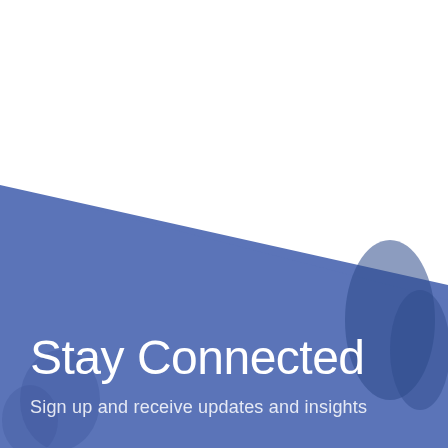[Figure (photo): A blue-toned background image showing silhouetted people in a group setting, with a diagonal white area in the upper right. The lower portion has a medium blue color overlaying the photo. Text 'Stay Connected' and 'Sign up and receive updates and insights' appear overlaid on the blue area in white.]
Stay Connected
Sign up and receive updates and insights